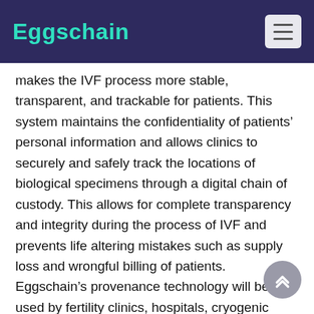Eggschain
makes the IVF process more stable, transparent, and trackable for patients. This system maintains the confidentiality of patients' personal information and allows clinics to securely and safely track the locations of biological specimens through a digital chain of custody. This allows for complete transparency and integrity during the process of IVF and prevents life altering mistakes such as supply loss and wrongful billing of patients. Eggschain's provenance technology will be used by fertility clinics, hospitals, cryogenic centers, and medical labs for screening genetic material.
“The technology such as developed by Eggschain has not existed before in the field of reproductive medicine. Blockchain is an incredibly powerful technology that allows